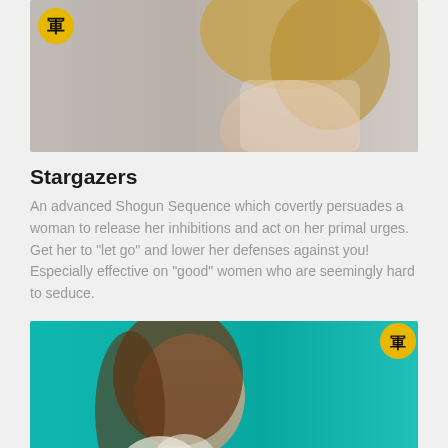[Figure (photo): Cropped photo of a blonde woman in a white lace top, with a yellow circular badge showing a kanji character (軍) in the top left corner]
Stargazers
An advanced Shogun Sequence which covertly persuades a woman to release her inhibitions and act on her primal urges. Get her to "let go" and lower her defenses against you! Especially effective on "good" women who are seemingly hard to seduce.
[Figure (photo): Photo of a brunette woman against a teal background holding a white lily flower, with a yellow circular badge showing a kanji character (軍) in the top right, and a cursive label 'The Mystery Box' in the bottom right]
The Mystery Box